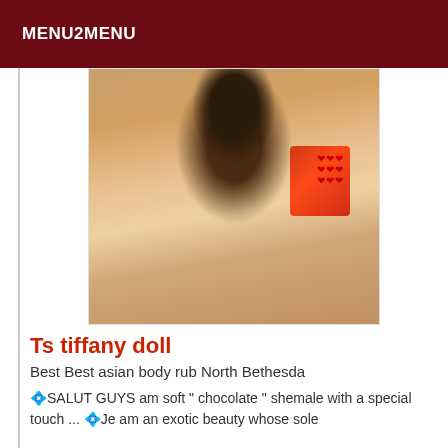MENU2MENU
[Figure (photo): Photo of a woman with long dark hair wearing a red top, selfie-style photo]
Ts tiffany doll
Best Best asian body rub North Bethesda
💠SALUT GUYS am soft " chocolate " shemale with a special touch ... 💠Je am an exotic beauty whose sole